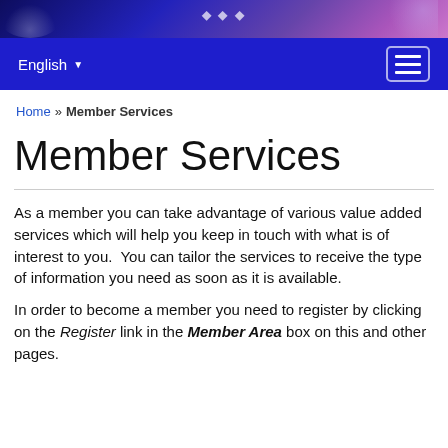[Figure (screenshot): Website header banner with dark blue and purple gradient background with decorative graphic elements]
English ▾  [hamburger menu button]
Home » Member Services
Member Services
As a member you can take advantage of various value added services which will help you keep in touch with what is of interest to you.  You can tailor the services to receive the type of information you need as soon as it is available.
In order to become a member you need to register by clicking on the Register link in the Member Area box on this and other pages.